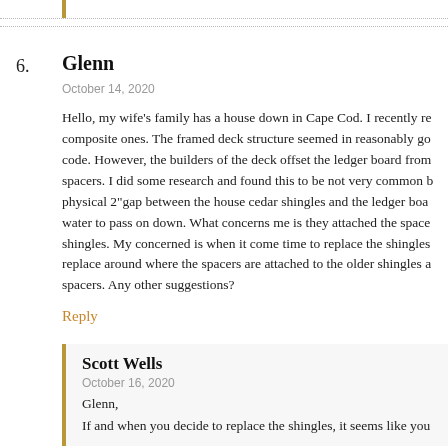6.
Glenn
October 14, 2020
Hello, my wife's family has a house down in Cape Cod. I recently re composite ones. The framed deck structure seemed in reasonably go code. However, the builders of the deck offset the ledger board from spacers. I did some research and found this to be not very common b physical 2"gap between the house cedar shingles and the ledger boa water to pass on down. What concerns me is they attached the space shingles. My concerned is when it come time to replace the shingles replace around where the spacers are attached to the older shingles a spacers. Any other suggestions?
Reply
Scott Wells
October 16, 2020
Glenn,
If and when you decide to replace the shingles, it seems like you